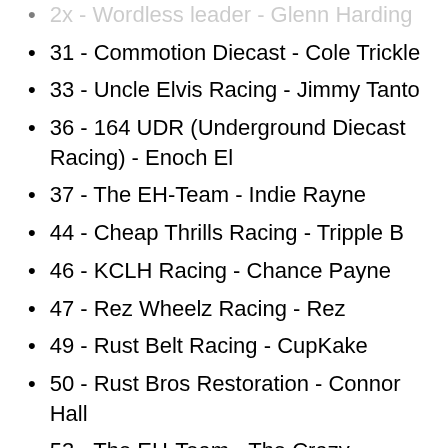31 - Commotion Diecast - Cole Trickle
33 - Uncle Elvis Racing - Jimmy Tanto
36 - 164 UDR (Underground Diecast Racing) - Enoch El
37 - The EH-Team - Indie Rayne
44 - Cheap Thrills Racing - Tripple B
46 - KCLH Racing - Chance Payne
47 - Rez Wheelz Racing - Rez
49 - Rust Belt Racing - CupKake
50 - Rust Bros Restoration - Connor Hall
53 - The EH-Team - The Crazy Canuck
55 - Planet Dorothy - Sweet JP
58 - KCLH Racing - Ava Lynn Payne
63 - Underdogs Unleashed (U.U.) - Idiot